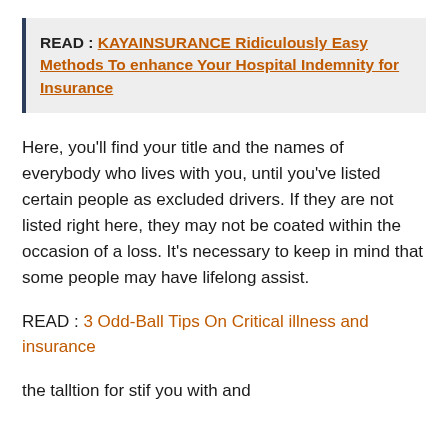READ : KAYAINSURANCE Ridiculously Easy Methods To enhance Your Hospital Indemnity for Insurance
Here, you'll find your title and the names of everybody who lives with you, until you've listed certain people as excluded drivers. If they are not listed right here, they may not be coated within the occasion of a loss. It's necessary to keep in mind that some people may have lifelong assist.
READ : 3 Odd-Ball Tips On Critical illness and insurance
the talltion for stif you with and